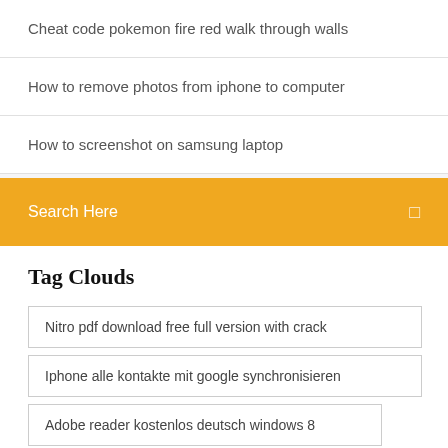Cheat code pokemon fire red walk through walls
How to remove photos from iphone to computer
How to screenshot on samsung laptop
Search Here
Tag Clouds
Nitro pdf download free full version with crack
Iphone alle kontakte mit google synchronisieren
Adobe reader kostenlos deutsch windows 8
Glitch gta 5 online ps3 rp